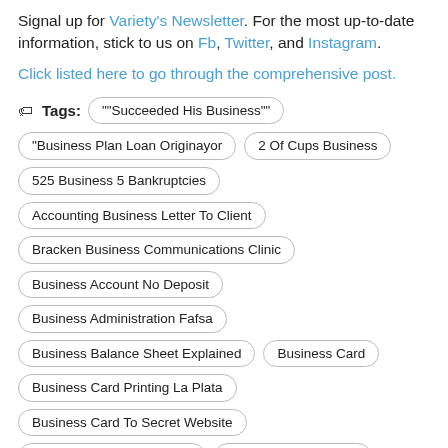Signal up for Variety's Newsletter. For the most up-to-date information, stick to us on Fb, Twitter, and Instagram.
Click listed here to go through the comprehensive post.
Tags: ""Succeeded His Business""
"Business Plan Loan Originayor
2 Of Cups Business
525 Business 5 Bankruptcies
Accounting Business Letter To Client
Bracken Business Communications Clinic
Business Account No Deposit
Business Administration Fafsa
Business Balance Sheet Explained
Business Card
Business Card Printing La Plata
Business Card To Secret Website
Business Cards Media Bar
Business Central Png